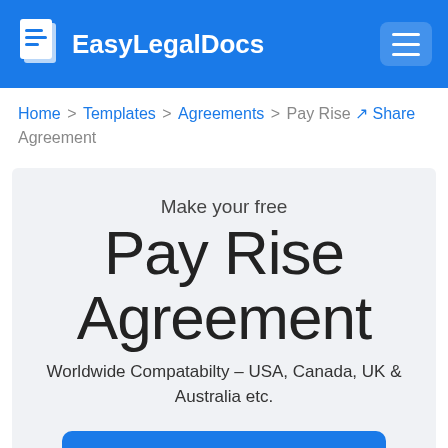EasyLegalDocs
Home > Templates > Agreements > Pay Rise Agreement Share
Make your free
Pay Rise Agreement
Worldwide Compatabilty - USA, Canada, UK & Australia etc.
Generate Document